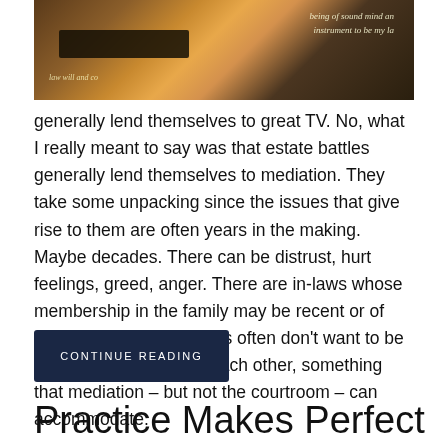[Figure (photo): Photo of a legal document / will with handwritten text visible, warm sepia tones with dark pen in foreground]
generally lend themselves to great TV. No, what I really meant to say was that estate battles generally lend themselves to mediation. They take some unpacking since the issues that give rise to them are often years in the making. Maybe decades. There can be distrust, hurt feelings, greed, anger. There are in-laws whose membership in the family may be recent or of long duration. The parties often don't want to be in the same room with each other, something that mediation – but not the courtroom – can accommodate.
CONTINUE READING
Practice Makes Perfect